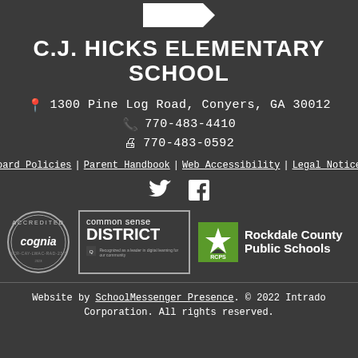C.J. HICKS ELEMENTARY SCHOOL
1300 Pine Log Road, Conyers, GA 30012
770-483-4410
770-483-0592
Board Policies | Parent Handbook | Web Accessibility | Legal Notices
[Figure (logo): Twitter and Facebook social media icons]
[Figure (logo): Cognia Accredited badge, Common Sense District badge, and Rockdale County Public Schools (RCPS) logo]
Website by SchoolMessenger Presence. © 2022 Intrado Corporation. All rights reserved.